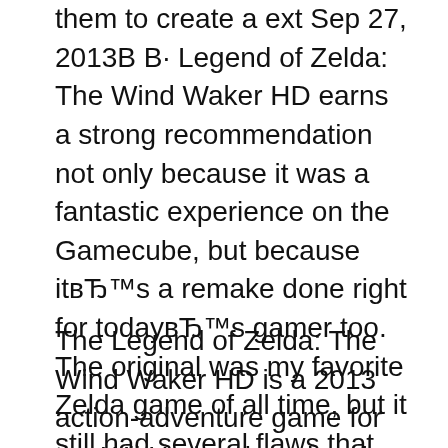them to create a ext Sep 27, 2013В В· Legend of Zelda: The Wind Waker HD earns a strong recommendation not only because it was a fantastic experience on the Gamecube, but because itвЂ™s a remake done right for todayвЂ™s gamer too. The original was my favorite Zelda game of all time, but it still had several flaws that always bothered me through all these years.
The Legend of Zelda: The Wind Waker HD is a 2013 action-adventure game for the Wii U, developed and published by Nintendo.It is a remastered version of the 2002 GameCube game The Legend of Zelda: The Wind Waker. The Wind Waker HD adds native 1080p resolution, an alternative lighting engine, and